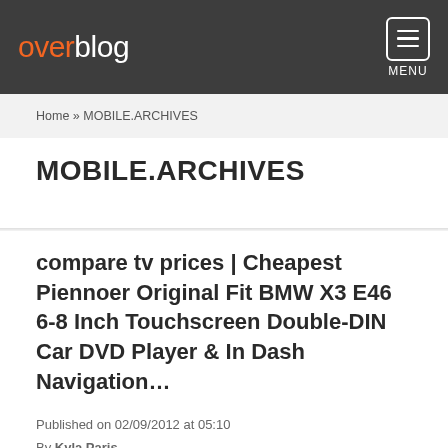overblog MENU
Home » MOBILE.ARCHIVES
MOBILE.ARCHIVES
compare tv prices | Cheapest Piennoer Original Fit BMW X3 E46 6-8 Inch Touchscreen Double-DIN Car DVD Player & In Dash Navigation…
Published on 02/09/2012 at 05:10
By Kyla Paris